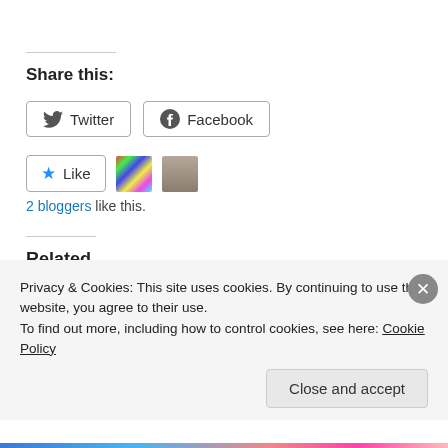Share this:
Twitter  Facebook
Like  2 bloggers like this.
Related
“Democracy is Not For The People”: Judge Dredd’s ‘Letter From A Democrat’
2000AD Prog #200 Proves That Johnny Alpha is The Best Mutant
Privacy & Cookies: This site uses cookies. By continuing to use this website, you agree to their use. To find out more, including how to control cookies, see here: Cookie Policy
Close and accept